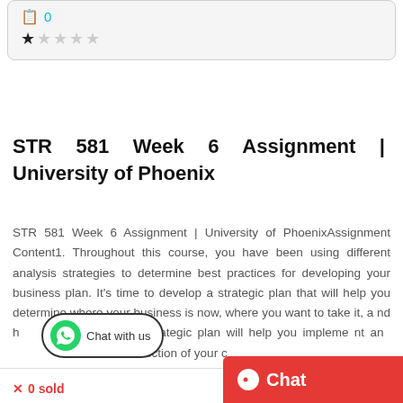[Figure (screenshot): Top card with book icon showing count 0 and star rating (1 filled star out of 5)]
STR 581 Week 6 Assignment | University of Phoenix
STR 581 Week 6 Assignment | University of PhoenixAssignment Content1. Throughout this course, you have been using different analysis strategies to determine best practices for developing your business plan. It's time to develop a strategic plan that will help you determine where your business is now, where you want to take it, and h... Your strategic plan will help you implement an... ic direction of your c
[Figure (other): Chat with us WhatsApp button overlay]
[Figure (other): Red Chat button in bottom right corner]
0 sold